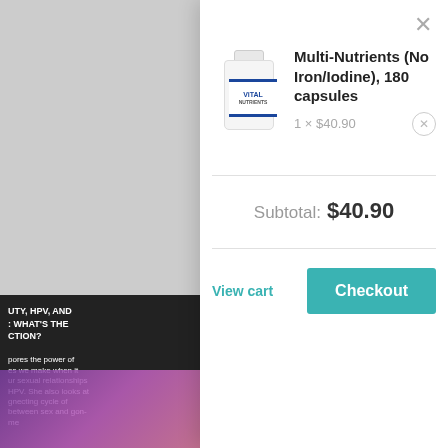[Figure (screenshot): Background showing a dimmed website with sidebar navigation and a dark card with text about HPV and a floral image below.]
×
[Figure (photo): Vital Nutrients Multi-Nutrients (No Iron/Iodine) supplement bottle, white with blue label]
Multi-Nutrients (No Iron/Iodine), 180 capsules
1 × $40.90
Subtotal: $40.90
View cart
Checkout